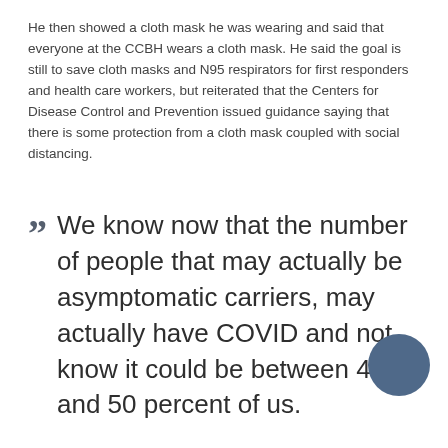He then showed a cloth mask he was wearing and said that everyone at the CCBH wears a cloth mask. He said the goal is still to save cloth masks and N95 respirators for first responders and health care workers, but reiterated that the Centers for Disease Control and Prevention issued guidance saying that there is some protection from a cloth mask coupled with social distancing.
We know now that the number of people that may actually be asymptomatic carriers, may actually have COVID and not know it could be between 40 and 50 percent of us.